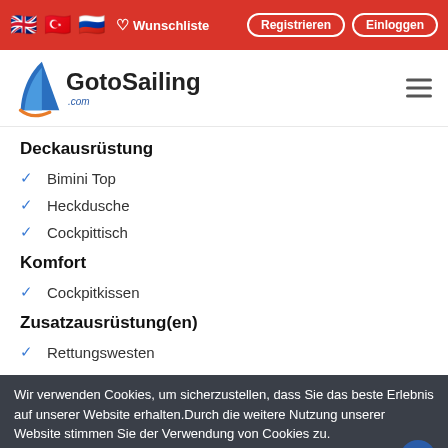GotoSailing.com — Wunschliste | Registrieren | Einloggen
[Figure (logo): GotoSailing.com logo with blue sail graphic]
Deckausrüstung
Bimini Top
Heckdusche
Cockpittisch
Komfort
Cockpitkissen
Zusatzausrüstung(en)
Rettungswesten
Wir verwenden Cookies, um sicherzustellen, dass Sie das beste Erlebnis auf unserer Website erhalten.Durch die weitere Nutzung unserer Website stimmen Sie der Verwendung von Cookies zu.
Mehr erfahren.  OK
alle Ausrüstungen anzeigen